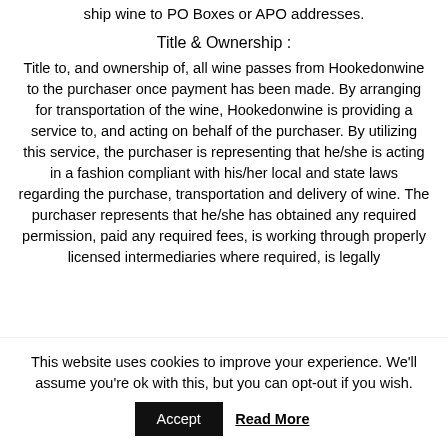ship wine to PO Boxes or APO addresses.
Title & Ownership :
Title to, and ownership of, all wine passes from Hookedonwine to the purchaser once payment has been made. By arranging for transportation of the wine, Hookedonwine is providing a service to, and acting on behalf of the purchaser. By utilizing this service, the purchaser is representing that he/she is acting in a fashion compliant with his/her local and state laws regarding the purchase, transportation and delivery of wine. The purchaser represents that he/she has obtained any required permission, paid any required fees, is working through properly licensed intermediaries where required, is legally
This website uses cookies to improve your experience. We'll assume you're ok with this, but you can opt-out if you wish.
Accept   Read More